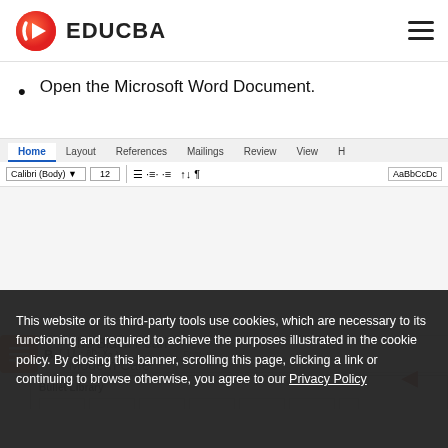EDUCBA
Open the Microsoft Word Document.
[Figure (screenshot): Microsoft Word ribbon interface showing Home tab active with Calibri Body font, size 12, formatting options, and Bullet Library dropdown open showing bullet style options: None, solid circle, outline circle, solid square, star, diamond]
This website or its third-party tools use cookies, which are necessary to its functioning and required to achieve the purposes illustrated in the cookie policy. By closing this banner, scrolling this page, clicking a link or continuing to browse otherwise, you agree to our Privacy Policy